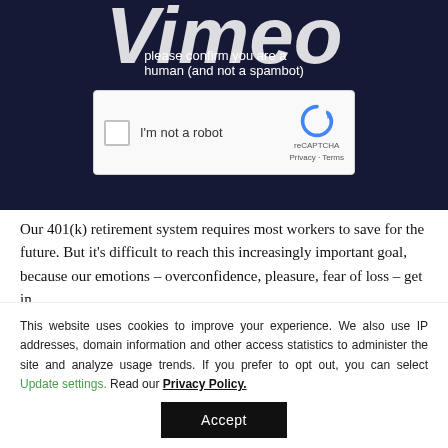[Figure (screenshot): Dark navy background section showing a Vimeo-style logo in large italic white text, subtitle text about being human and not a spambot, and a reCAPTCHA widget with checkbox 'I'm not a robot', reCAPTCHA logo, Privacy and Terms links]
Our 401(k) retirement system requires most workers to save for the future. But it's difficult to reach this increasingly important goal, because our emotions – overconfidence, pleasure, fear of loss – get in
This website uses cookies to improve your experience. We also use IP addresses, domain information and other access statistics to administer the site and analyze usage trends. If you prefer to opt out, you can select Update settings. Read our Privacy Policy.
Accept